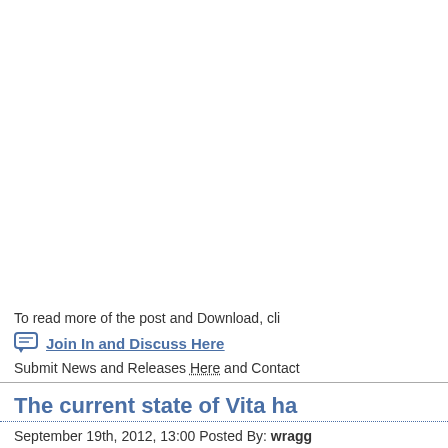To read more of the post and Download, cli
Join In and Discuss Here
Submit News and Releases Here and Contact
The current state of Vita ha
September 19th, 2012, 13:00 Posted By: wragg
The last few weeks have been extremely exciti support for the console, we've seen, if not alwa loading, native exploits, hardware investigation hacking back in July, so it's time for a new stat
1. VHBL and the PSP emulator
As of now, VHBL is still the only way to run uns won't let you run any native vita code, or any is